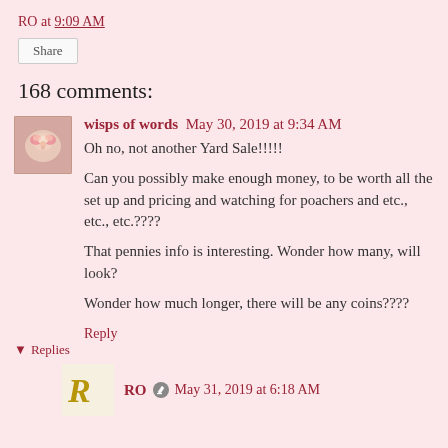RO at 9:09 AM
Share
168 comments:
wisps of words  May 30, 2019 at 9:34 AM
Oh no, not another Yard Sale!!!!!

Can you possibly make enough money, to be worth all the set up and pricing and watching for poachers and etc., etc., etc.????

That pennies info is interesting. Wonder how many, will look?

Wonder how much longer, there will be any coins????
Reply
▾ Replies
RO  May 31, 2019 at 6:18 AM